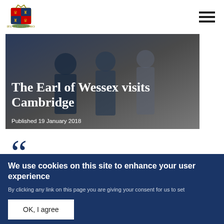Royal Household website header with coat of arms logo and navigation menu icon
[Figure (photo): Hero image showing The Earl of Wessex in Cambridge, dark background with people in suits]
The Earl of Wessex visits Cambridge
Published 19 January 2018
“
We use cookies on this site to enhance your user experience
By clicking any link on this page you are giving your consent for us to set cookies. No, give me more info
OK, I agree